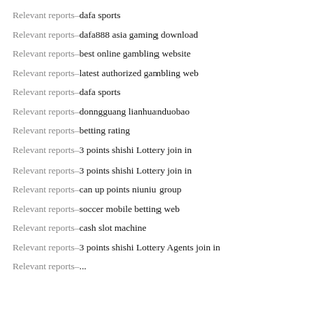Relevant reports–dafa sports
Relevant reports–dafa888 asia gaming download
Relevant reports–best online gambling website
Relevant reports–latest authorized gambling web
Relevant reports–dafa sports
Relevant reports–donngguang lianhuanduobao
Relevant reports–betting rating
Relevant reports–3 points shishi Lottery join in
Relevant reports–3 points shishi Lottery join in
Relevant reports–can up points niuniu group
Relevant reports–soccer mobile betting web
Relevant reports–cash slot machine
Relevant reports–3 points shishi Lottery Agents join in
Relevant reports–...